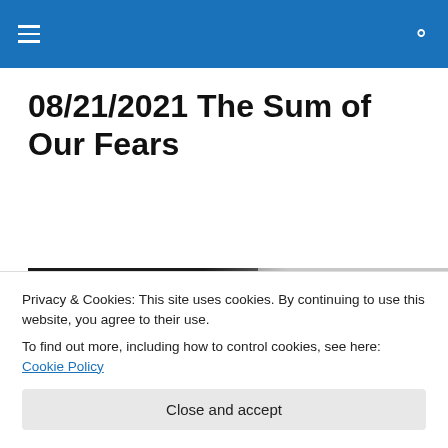Navigation menu and search icon
08/21/2021 The Sum of Our Fears
[Figure (photo): Black and white photo: left half shows a dense tangle of scribbled black lines/chaos; right half shows a lone figure with arms outstretched against a light grey sky]
Privacy & Cookies: This site uses cookies. By continuing to use this website, you agree to their use.
To find out more, including how to control cookies, see here: Cookie Policy
Close and accept